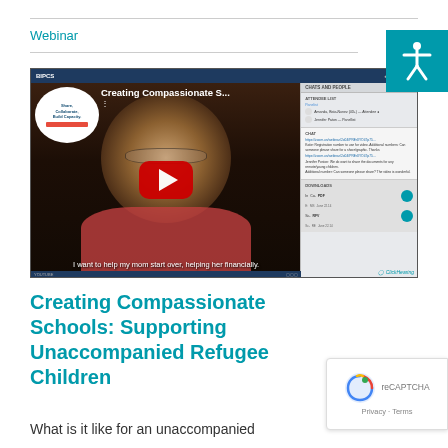Webinar
[Figure (screenshot): Screenshot of a webinar recording titled 'Creating Compassionate S...' showing a YouTube video player with a student's face and a red play button. The video has subtitle text: 'I want to help my mom start over, helping her financially.' A panel on the right shows participant list, chat, and download sections with a ClickHearing logo.]
Creating Compassionate Schools: Supporting Unaccompanied Refugee Children
What is it like for an unaccompanied